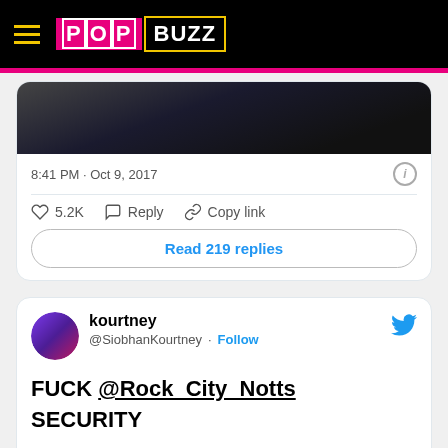PopBuzz
[Figure (screenshot): Partial tweet image showing dark background, timestamp 8:41 PM · Oct 9, 2017, like count 5.2K, Reply and Copy link actions, and Read 219 replies button]
[Figure (screenshot): Tweet by kourtney @SiobhanKourtney: FUCK @Rock_City_Notts SECURITY, with embedded video thumbnail showing Watch on Twitter overlay]